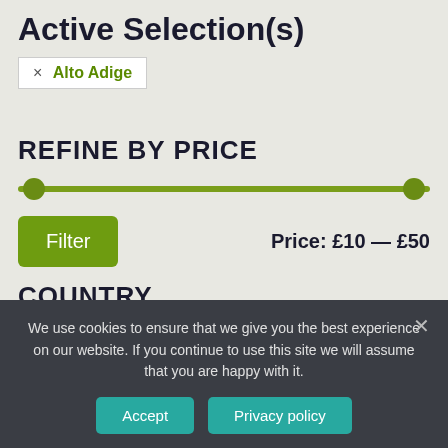Active Selection(s)
× Alto Adige
REFINE BY PRICE
[Figure (other): A horizontal range slider with olive/green track and two circular handles at each end, representing a price filter range.]
Filter   Price: £10 — £50
COUNTRY
Italy (13)
We use cookies to ensure that we give you the best experience on our website. If you continue to use this site we will assume that you are happy with it.
Accept   Privacy policy